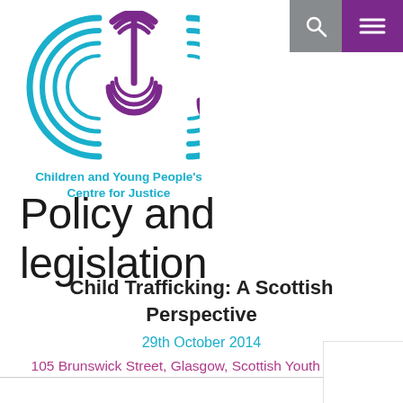[Figure (logo): CYCJ logo — Children and Young People's Centre for Justice — circular letter forms in teal and purple]
Children and Young People's Centre for Justice
Policy and legislation
Child Trafficking: A Scottish Perspective
29th October 2014
105 Brunswick Street, Glasgow, Scottish Youth Theatre